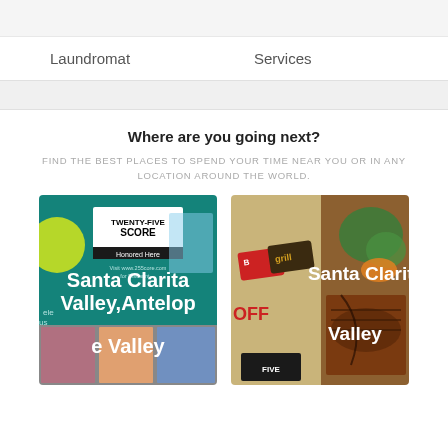Laundromat
Services
Where are you going next?
FIND THE BEST PLACES TO SPEND YOUR TIME NEAR YOU OR IN ANY LOCATION AROUND THE WORLD.
[Figure (photo): Card image with TWENTY-FIVE SCORE Honored Here branding and people, labeled Santa Clarita Valley, Antelope Valley]
[Figure (photo): Card image with grill/food branding and grilled food photo, labeled Santa Clarita Valley]